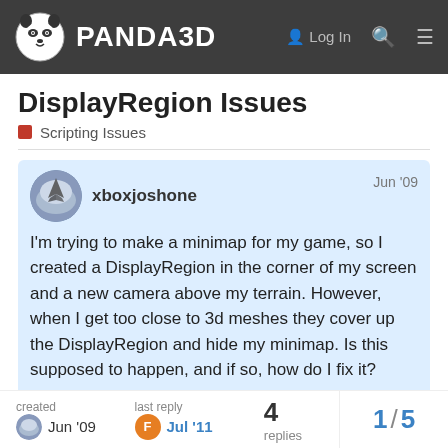PANDA3D
DisplayRegion Issues
Scripting Issues
xboxjoshone  Jun '09

I'm trying to make a minimap for my game, so I created a DisplayRegion in the corner of my screen and a new camera above my terrain. However, when I get too close to 3d meshes they cover up the DisplayRegion and hide my minimap. Is this supposed to happen, and if so, how do I fix it?
created Jun '09  last reply Jul '11  4 replies  1 / 5